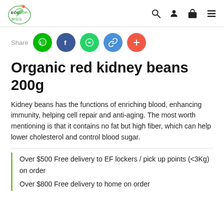Eco Shop 醉環保 — navigation header with logo and icons
[Figure (infographic): Share row with social media buttons: LINE, Facebook, WhatsApp, Link, Plus]
Organic red kidney beans 200g
Kidney beans has the functions of enriching blood, enhancing immunity, helping cell repair and anti-aging. The most worth mentioning is that it contains no fat but high fiber, which can help lower cholesterol and control blood sugar.
Over $500 Free delivery to EF lockers / pick up points (<3Kg) on order
Over $800 Free delivery to home on order